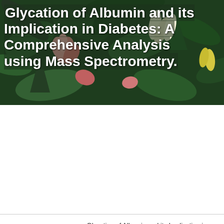Glycation of Albumin and its Implication in Diabetes: A Comprehensive Analysis using Mass Spectrometry.
| Field | Value |
| --- | --- |
| Title | Glycation of Albumin and its Implication in Diabetes: A Comprehensive Analysis using Mass Spectrometry. |
| Publication Type | Journal Article |
| Year of Publication | 2021 |
| Authors | Kumari N, Bandyopadhyay D, Kumar V, Venkatesh DB, Prasad S, Prakash S, Krishnaswamy PR, Balaram P, Bhat N |